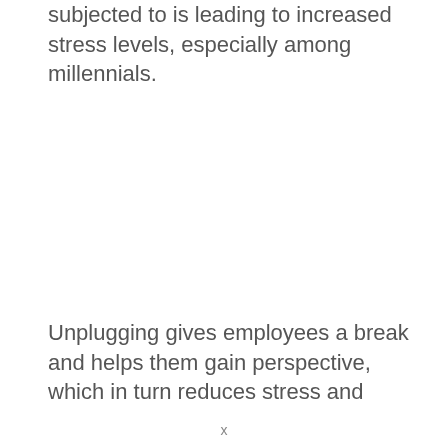subjected to is leading to increased stress levels, especially among millennials.
Unplugging gives employees a break and helps them gain perspective, which in turn reduces stress and
x